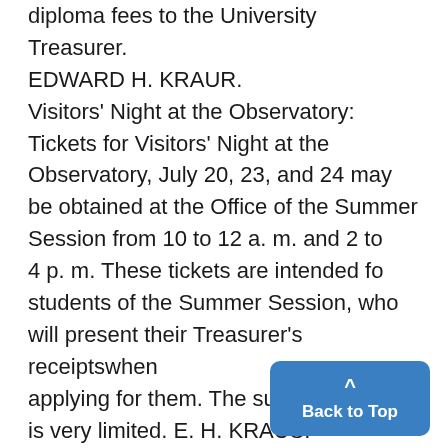diploma fees to the University Treasurer. EDWARD H. KRAUR.
Visitors' Night at the Observatory: Tickets for Visitors' Night at the Observatory, July 20, 23, and 24 may be obtained at the Office of the Summer Session from 10 to 12 a. m. and 2 to 4 p. m. These tickets are intended fo students of the Summer Session, who will present their Treasurer's receiptswhen applying for them. The supply is very limited. E. H. KRAUS.
Excursion No. 7:
Caddillac Motor Car Company.